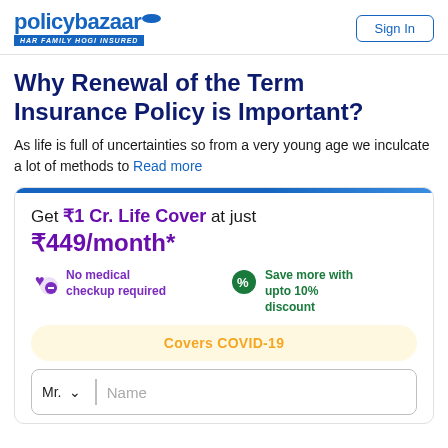policybazaar.com HAR FAMILY HOGI INSURED | Sign In
Why Renewal of the Term Insurance Policy is Important?
As life is full of uncertainties so from a very young age we inculcate a lot of methods to Read more
Get ₹1 Cr. Life Cover at just ₹449/month*
No medical checkup required
Save more with upto 10% discount
Covers COVID-19
Mr. ∨  Name